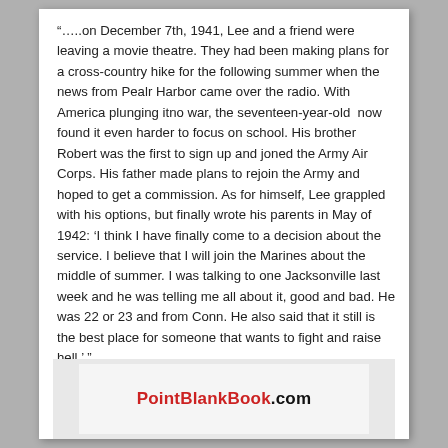“…..on December 7th, 1941, Lee and a friend were leaving a movie theatre. They had been making plans for a cross-country hike for the following summer when the news from Pealr Harbor came over the radio. With America plunging itno war, the seventeen-year-old  now found it even harder to focus on school. His brother Robert was the first to sign up and joned the Army Air Corps. His father made plans to rejoin the Army and hoped to get a commission. As for himself, Lee grappled with his options, but finally wrote his parents in May of 1942: ‘I think I have finally come to a decision about the service. I believe that I will join the Marines about the middle of summer. I was talking to one Jacksonville last week and he was telling me all about it, good and bad. He was 22 or 23 and from Conn. He also said that it still is the best place for someone that wants to fight and raise hell.’ ”
[Figure (other): Partial image showing PointBlankBook.com text in red and black on a white background]